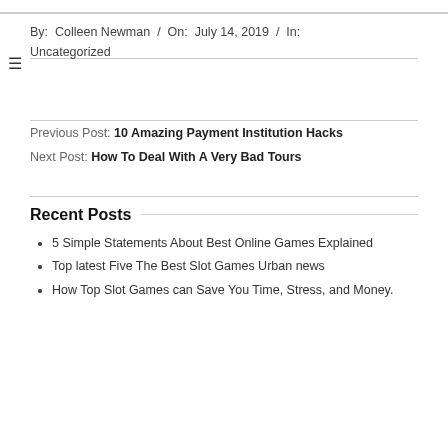By: Colleen Newman / On: July 14, 2019 / In: Uncategorized
Previous Post: 10 Amazing Payment Institution Hacks
Next Post: How To Deal With A Very Bad Tours
Recent Posts
5 Simple Statements About Best Online Games Explained
Top latest Five The Best Slot Games Urban news
How Top Slot Games can Save You Time, Stress, and Money.